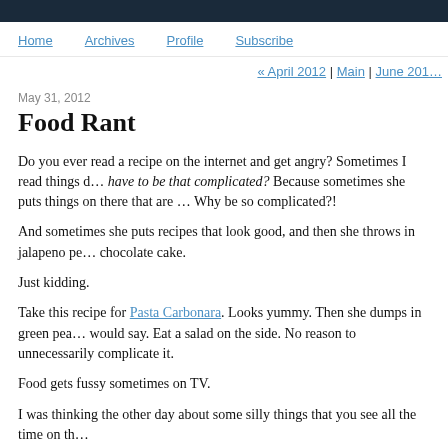Home  Archives  Profile  Subscribe
« April 2012 | Main | June 201…
May 31, 2012
Food Rant
Do you ever read a recipe on the internet and get angry? Sometimes I read things d… have to be that complicated? Because sometimes she puts things on there that are … Why be so complicated?!
And sometimes she puts recipes that look good, and then she throws in jalapeno pe… chocolate cake.
Just kidding.
Take this recipe for Pasta Carbonara. Looks yummy. Then she dumps in green pea… would say. Eat a salad on the side. No reason to unnecessarily complicate it.
Food gets fussy sometimes on TV.
I was thinking the other day about some silly things that you see all the time on th…
Like, people wearing tons of rings and bracelets while they COOK. [cough cough,…
I want clean hands and arms when I cook because I am frequently washing my han… y'all.
You see cooks all the time NOT washing their produce and NOT washing their han…